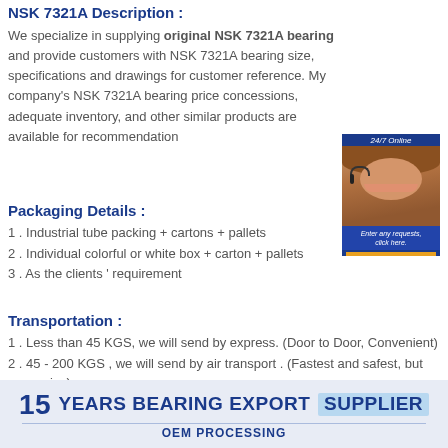NSK 7321A Description :
We specialize in supplying original NSK 7321A bearing and provide customers with NSK 7321A bearing size, specifications and drawings for customer reference. My company's NSK 7321A bearing price concessions, adequate inventory, and other similar products are available for recommendation
[Figure (photo): Customer service representative with headset, 24/7 Online badge, with text 'Enter any requests, click here.' and a Quotation button]
Packaging Details :
1 . Industrial tube packing + cartons + pallets
2 . Individual colorful or white box + carton + pallets
3 . As the clients ' requirement
Transportation :
1 . Less than 45 KGS, we will send by express. (Door to Door, Convenient)
2 . 45 - 200 KGS , we will send by air transport . (Fastest and safest, but expensive)
3 . More than 200 KGS, we will send by sea . ( Cheapest and common use )
[Figure (infographic): Banner: 15 YEARS BEARING EXPORT SUPPLIER with OEM PROCESSING text below]